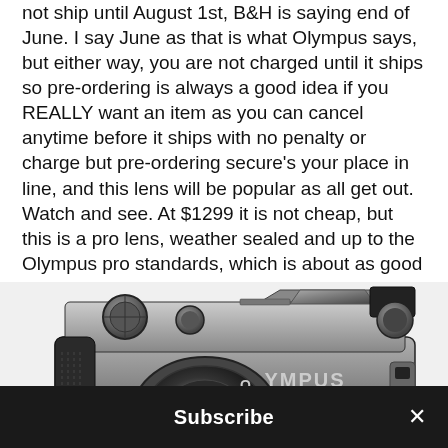not ship until August 1st, B&H is saying end of June. I say June as that is what Olympus says, but either way, you are not charged until it ships so pre-ordering is always a good idea if you REALLY want an item as you can cancel anytime before it ships with no penalty or charge but pre-ordering secure's your place in line, and this lens will be popular as all get out. Watch and see. At $1299 it is not cheap, but this is a pro lens, weather sealed and up to the Olympus pro standards, which is about as good as it gets.
[Figure (photo): Black and white photo of an Olympus mirrorless camera body viewed from the front-top angle, showing the viewfinder hump, dials, lens, and OLYMPUS branding on the front.]
Subscribe ×